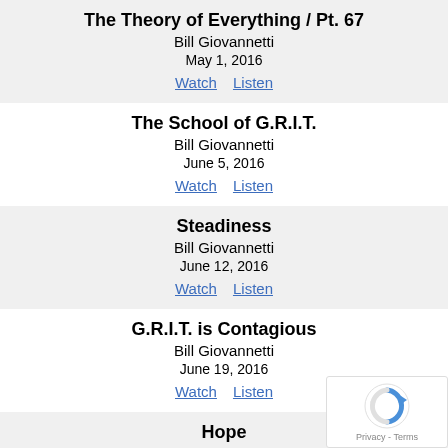The Theory of Everything / Pt. 67
Bill Giovannetti
May 1, 2016
Watch  Listen
The School of G.R.I.T.
Bill Giovannetti
June 5, 2016
Watch  Listen
Steadiness
Bill Giovannetti
June 12, 2016
Watch  Listen
G.R.I.T. is Contagious
Bill Giovannetti
June 19, 2016
Watch  Listen
Hope
Bill Giovannetti